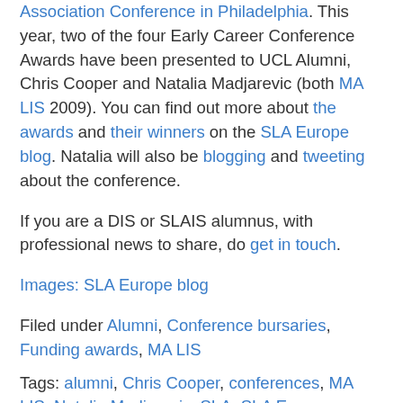Association Conference in Philadelphia. This year, two of the four Early Career Conference Awards have been presented to UCL Alumni, Chris Cooper and Natalia Madjarevic (both MA LIS 2009). You can find out more about the awards and their winners on the SLA Europe blog. Natalia will also be blogging and tweeting about the conference.
If you are a DIS or SLAIS alumnus, with professional news to share, do get in touch.
Images: SLA Europe blog
Filed under Alumni, Conference bursaries, Funding awards, MA LIS
Tags: alumni, Chris Cooper, conferences, MA LIS, Natalia Madjarevic, SLA, SLA Europe, SLA2011, Special